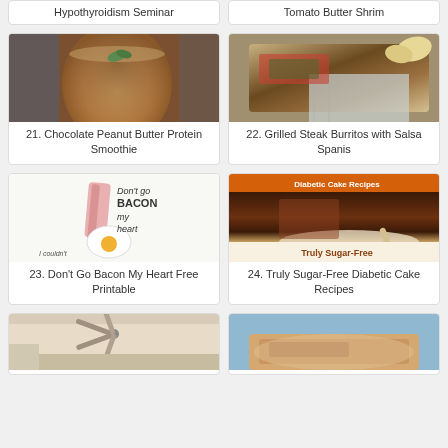Hypothyroidism Seminar
Tomato Butter Shrim
[Figure (photo): A chocolate peanut butter protein smoothie in a glass with mint garnish]
21. Chocolate Peanut Butter Protein Smoothie
[Figure (photo): Grilled steak burrito with salsa, wrapped in foil]
22. Grilled Steak Burritos with Salsa Spanis
[Figure (illustration): Don't go BACON my heart I couldn't if I... - cute bacon and egg illustration]
23. Don't Go Bacon My Heart Free Printable
[Figure (photo): Diabetic Cake Recipes - Truly Sugar-Free chocolate cake slice with spoon]
24. Truly Sugar-Free Diabetic Cake Recipes
[Figure (photo): Ceiling fan in a room]
[Figure (photo): A food dish, possibly a casserole or baked dish]